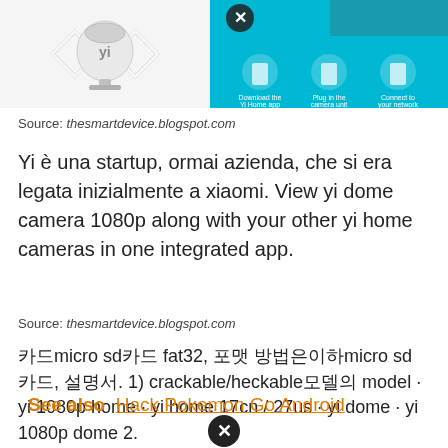[Figure (photo): Left: Yi dome camera product photo on white background. Right: Setup instructions screenshot with teal/cyan background showing download, plug in, connect steps.]
Source: thesmartdevice.blogspot.com
Yi è una startup, ormai azienda, che si era legata inizialmente a xiaomi. View yi dome camera 1080p along with your other yi home cameras in one integrated app.
Source: thesmartdevice.blogspot.com
카드micro sd카드 fat32, 포맷 방법은이하micro sd 카드, 설명서. 1) crackable/heckable모델의 model · yi 1080p home · yi home 17cn / 27us · yi dome · yi 1080p dome 2.
See also  Hack Pokemon Go Android